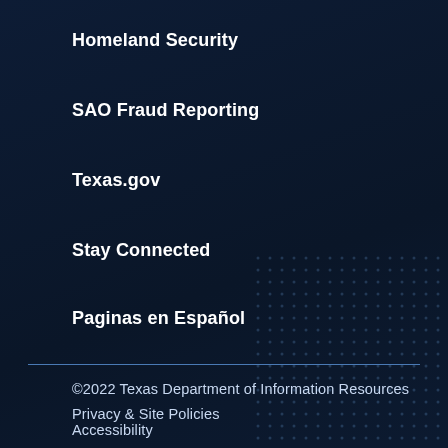Homeland Security
SAO Fraud Reporting
Texas.gov
Stay Connected
Paginas en Español
©2022 Texas Department of Information Resources
Privacy & Site Policies
Accessibility
Ethics Policy
Public Information Requests